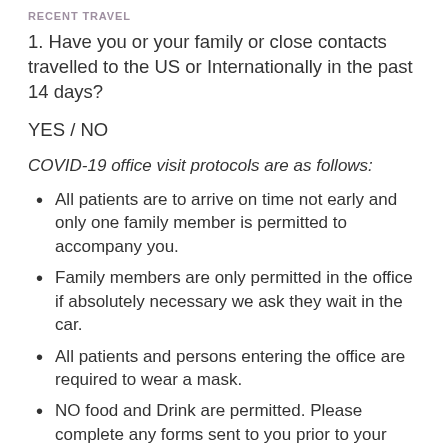RECENT TRAVEL
1. Have you or your family or close contacts travelled to the US or Internationally in the past 14 days?
YES / NO
COVID-19 office visit protocols are as follows:
All patients are to arrive on time not early and only one family member is permitted to accompany you.
Family members are only permitted in the office if absolutely necessary we ask they wait in the car.
All patients and persons entering the office are required to wear a mask.
NO food and Drink are permitted. Please complete any forms sent to you prior to your appointment.
RECOMMENDED FOR YOU